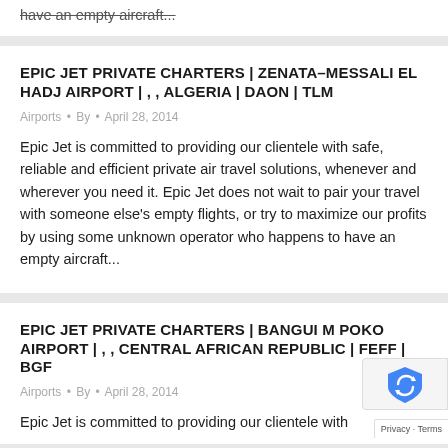have an empty aircraft...
EPIC JET PRIVATE CHARTERS | ZENATA–MESSALI EL HADJ AIRPORT | , , ALGERIA | DAON | TLM
Airports • By • April 28, 2014
Epic Jet is committed to providing our clientele with safe, reliable and efficient private air travel solutions, whenever and wherever you need it. Epic Jet does not wait to pair your travel with someone else's empty flights, or try to maximize our profits by using some unknown operator who happens to have an empty aircraft...
EPIC JET PRIVATE CHARTERS | BANGUI M POKO AIRPORT | , , CENTRAL AFRICAN REPUBLIC | FEFF | BGF
Airports • By • April 28, 2014
Epic Jet is committed to providing our clientele with